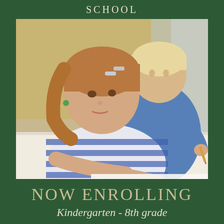SCHOOL
[Figure (photo): Two young children sitting at a desk, writing with pencils. The girl in the foreground wears a blue and white striped shirt with hair clips, looking down at her work. A boy in a blue sweatshirt is behind her, also writing.]
NOW ENROLLING
Kindergarten - 8th grade